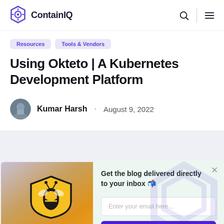ContainIQ
Resources
Tools & Vendors
Using Okteto | A Kubernetes Development Platform
Kumar Harsh · August 9, 2022
[Figure (photo): Article hero image with orange/gradient background and a bee logo on a yellow/black shield]
Get the blog delivered directly to your inbox 🐝
Enter your email here...
Subscribe